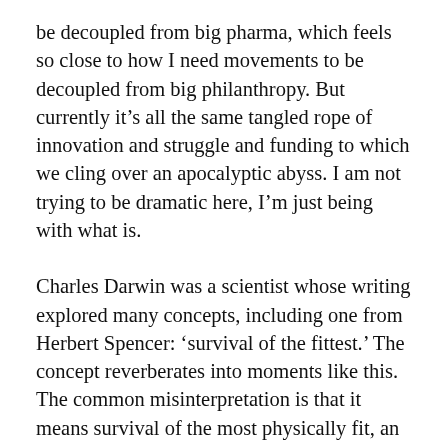be decoupled from big pharma, which feels so close to how I need movements to be decoupled from big philanthropy. But currently it's all the same tangled rope of innovation and struggle and funding to which we cling over an apocalyptic abyss. I am not trying to be dramatic here, I'm just being with what is.
Charles Darwin was a scientist whose writing explored many concepts, including one from Herbert Spencer: 'survival of the fittest.' The concept reverberates into moments like this. The common misinterpretation is that it means survival of the most physically fit, an ableist view. I'm sure you, like me, have seen able-bodied people argue against Covid safety